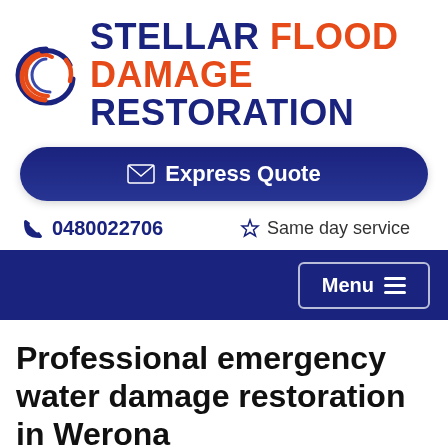[Figure (logo): Stellar Flood Damage Restoration company logo with swirl icon in red, blue and orange, and bold two-line text logo]
[Figure (other): Express Quote button with envelope icon, dark blue rounded rectangle button]
0480022706
Same day service
[Figure (other): Dark blue navigation bar with Menu hamburger button on right]
Professional emergency water damage restoration in Werona
[Figure (photo): Partial photo showing water damage scene at bottom of page]